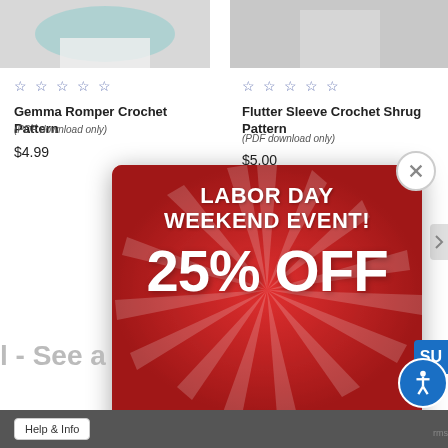[Figure (photo): Partial product image of Gemma Romper Crochet Pattern - teal knit item on white background]
[Figure (photo): Partial product image of Flutter Sleeve Crochet Shrug Pattern]
☆☆☆☆☆
☆☆☆☆☆
Gemma Romper Crochet Pattern
(PDF download only)
$4.99
Flutter Sleeve Crochet Shrug Pattern
(PDF download only)
$5.00
[Figure (infographic): Labor Day Weekend Event popup banner with 25% OFF and countdown timer 01 Day 12 Hr 19 Min and SHOP NOW button]
l - See a
Help & Info
SU
rms